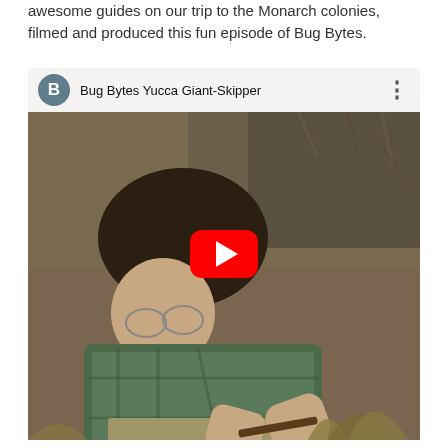awesome guides on our trip to the Monarch colonies, filmed and produced this fun episode of Bug Bytes.
[Figure (screenshot): YouTube video thumbnail showing a man in a green plaid shirt crouching outdoors examining something on the ground near dry brush. The video is titled 'Bug Bytes Yucca Giant-Skipper' with a YouTube play button overlay. The channel icon shows the letter B on a grey circle.]